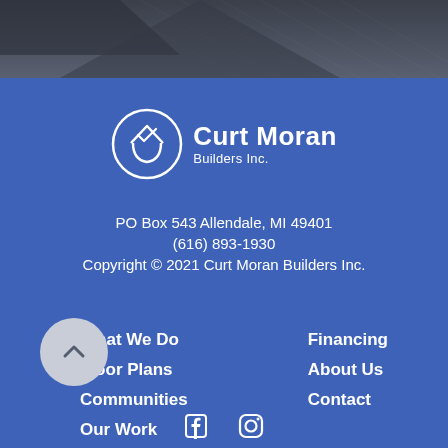[Figure (photo): Dark gray rooftop/construction image banner at top of page]
[Figure (logo): Curt Moran Builders Inc. logo: white circular house/roof icon with company name in white bold text]
PO Box 543 Allendale, MI 49401
(616) 893-1930
Copyright © 2021 Curt Moran Builders Inc.
What We Do
Floor Plans
Communities
Our Work
Financing
About Us
Contact
[Figure (other): Gray circular back-to-top arrow button (chevron up icon)]
[Figure (other): Facebook and Instagram social media icons in white]